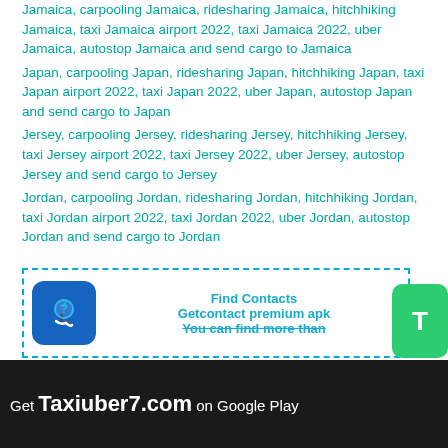Jamaica, carpooling Jamaica, ridesharing Jamaica, hitchhiking Jamaica, taxi Jamaica airport 2022, taxi Jamaica 2022, uber Jamaica, autostop Jamaica and send cargo to Jamaica
Japan, carpooling Japan, ridesharing Japan, hitchhiking Japan, taxi Japan airport 2022, taxi Japan 2022, uber Japan, autostop Japan and send cargo to Japan
Jersey, carpooling Jersey, ridesharing Jersey, hitchhiking Jersey, taxi Jersey airport 2022, taxi Jersey 2022, uber Jersey, autostop Jersey and send cargo to Jersey
Jordan, carpooling Jordan, ridesharing Jordan, hitchhiking Jordan, taxi Jordan airport 2022, taxi Jordan 2022, uber Jordan, autostop Jordan and send cargo to Jordan
K
[Figure (infographic): Advertisement box with dashed border containing a blue app icon with phone/question mark, text 'Find Contacts Getcontact premium apk You can find more than...' in cyan/teal bold text, and a green T button on the right side.]
Get Taxiuber7.com on Google Play